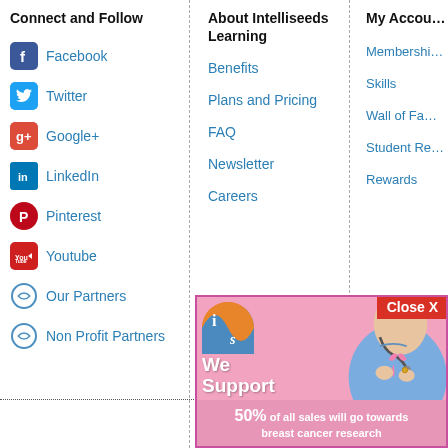Connect and Follow
Facebook
Twitter
Google+
LinkedIn
Pinterest
Youtube
Our Partners
Non Profit Partners
About Intelliseeds Learning
Benefits
Plans and Pricing
FAQ
Newsletter
Careers
My Account
Membership
Skills
Wall of Fame
Student Re...
Rewards
[Figure (infographic): Intelliseeds Learning promotional popup for Susan G. Komen breast cancer support. Pink background with nurse wearing scrubs and stethoscope. Logo: orange and blue circle with 'is'. Text: 'We Support Susan G. Komen' and '50% of all sales will go towards breast cancer research'. Pink ribbon icon visible. Close X button in red top right.]